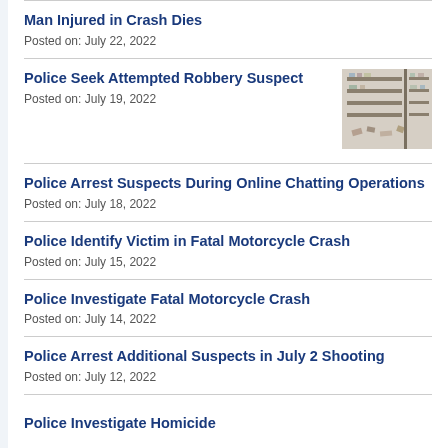Man Injured in Crash Dies
Posted on: July 22, 2022
Police Seek Attempted Robbery Suspect
Posted on: July 19, 2022
[Figure (photo): Interior store photo showing shelves and scattered items on floor]
Police Arrest Suspects During Online Chatting Operations
Posted on: July 18, 2022
Police Identify Victim in Fatal Motorcycle Crash
Posted on: July 15, 2022
Police Investigate Fatal Motorcycle Crash
Posted on: July 14, 2022
Police Arrest Additional Suspects in July 2 Shooting
Posted on: July 12, 2022
Police Investigate Homicide